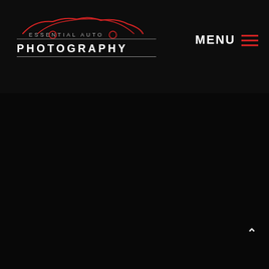Essential Auto Photography — MENU
[Figure (logo): Essential Auto Photography logo with red car silhouette outline above the text ESSENTIAL AUTO separated by a horizontal line above PHOTOGRAPHY in bold white letters]
MENU
[Figure (other): Dark/black background main content area, nearly empty]
^